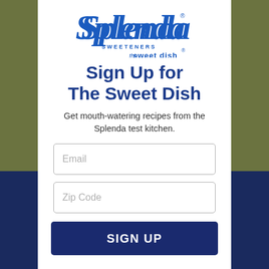[Figure (logo): Splenda Sweeteners logo with 'the sweet dish' tagline]
Sign Up for The Sweet Dish
Get mouth-watering recipes from the Splenda test kitchen.
[Figure (screenshot): Email input field with placeholder text 'Email']
[Figure (screenshot): Zip Code input field with placeholder text 'Zip Code']
SIGN UP